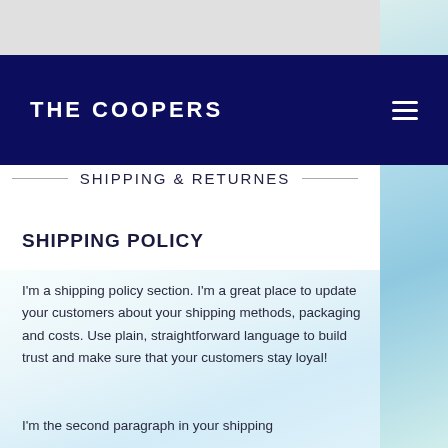THE COOPERS
SHIPPING & RETURNES
SHIPPING POLICY
I'm a shipping policy section. I'm a great place to update your customers about your shipping methods, packaging and costs. Use plain, straightforward language to build trust and make sure that your customers stay loyal!
I'm the second paragraph in your shipping